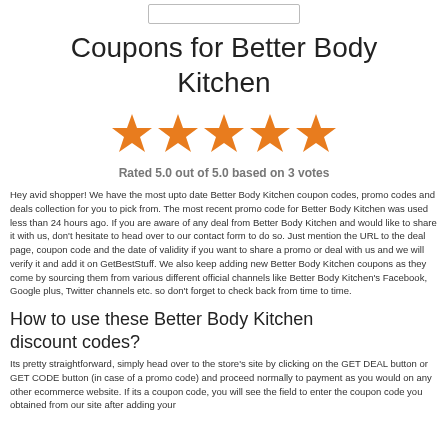[Figure (other): Search bar input field]
Coupons for Better Body Kitchen
[Figure (other): Five orange filled star rating icons]
Rated 5.0 out of 5.0 based on 3 votes
Hey avid shopper! We have the most upto date Better Body Kitchen coupon codes, promo codes and deals collection for you to pick from. The most recent promo code for Better Body Kitchen was used less than 24 hours ago. If you are aware of any deal from Better Body Kitchen and would like to share it with us, don't hesitate to head over to our contact form to do so. Just mention the URL to the deal page, coupon code and the date of validity if you want to share a promo or deal with us and we will verify it and add it on GetBestStuff. We also keep adding new Better Body Kitchen coupons as they come by sourcing them from various different official channels like Better Body Kitchen's Facebook, Google plus, Twitter channels etc. so don't forget to check back from time to time.
How to use these Better Body Kitchen discount codes?
Its pretty straightforward, simply head over to the store's site by clicking on the GET DEAL button or GET CODE button (in case of a promo code) and proceed normally to payment as you would on any other ecommerce website. If its a coupon code, you will see the field to enter the coupon code you obtained from our site after adding your